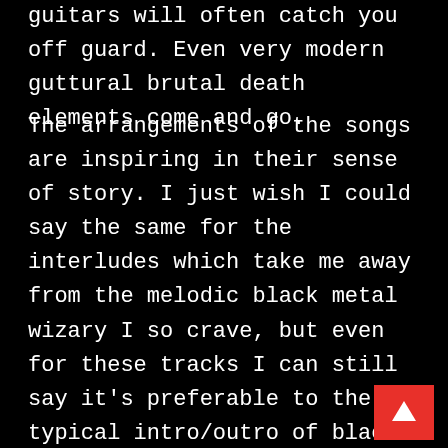guitars will often catch you off guard. Even very modern guttural brutal death elements come and go.
The arrangements of the songs are inspiring in their sense of story. I just wish I could say the same for the interludes which take me away from the melodic black metal wizary I so crave, but even for these tracks I can still say it's preferable to the typical intro/outro of black metal albums with bells or satanic samples. It's simply a matter of musical preference when it comes to noise or ambient and they have their place within the themes of the record. They are executed